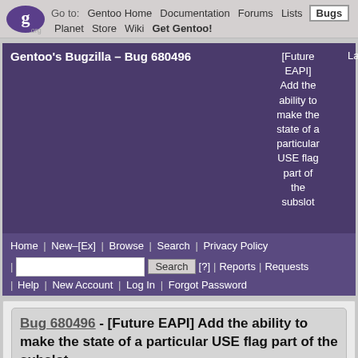Go to: Gentoo Home Documentation Forums Lists Bugs Planet Store Wiki Get Gentoo!
Gentoo's Bugzilla – Bug 680496 [Future EAPI] Add the ability to make the state of a particular USE flag part of the subslot Last modified: 2022-08-27 1...
Home | New–[Ex] | Browse | Search | Privacy Policy | [search box] Search [?] | Reports | Requests | Help | New Account | Log In | Forgot Password
Bug 680496 - [Future EAPI] Add the ability to make the state of a particular USE flag part of the subslot
Status: CONFIRMED    Reported: 2019-03-15 18:48